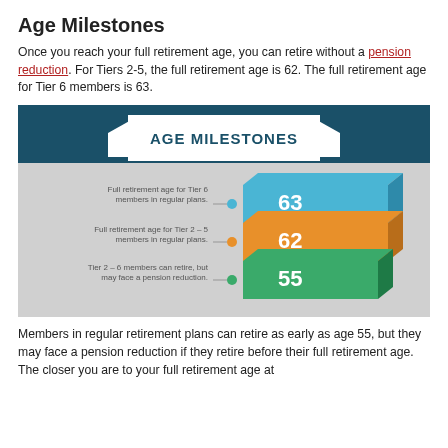Age Milestones
Once you reach your full retirement age, you can retire without a pension reduction. For Tiers 2-5, the full retirement age is 62. The full retirement age for Tier 6 members is 63.
[Figure (infographic): Age Milestones infographic showing a stacked bar chart with three colored bars: Blue (63) - Full retirement age for Tier 6 members in regular plans; Orange (62) - Full retirement age for Tier 2-5 members in regular plans; Green (55) - Tier 2-6 members can retire, but may face a pension reduction.]
Members in regular retirement plans can retire as early as age 55, but they may face a pension reduction if they retire before their full retirement age. The closer you are to your full retirement age at